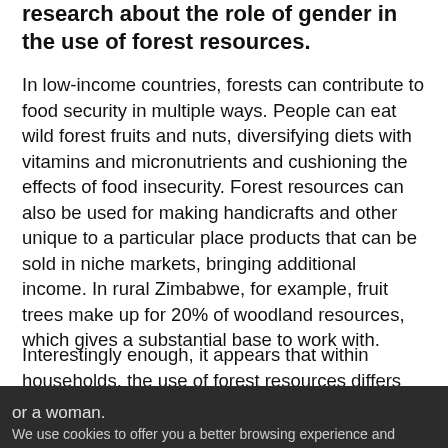research about the role of gender in the use of forest resources.
In low-income countries, forests can contribute to food security in multiple ways. People can eat wild forest fruits and nuts, diversifying diets with vitamins and micronutrients and cushioning the effects of food insecurity. Forest resources can also be used for making handicrafts and other unique to a particular place products that can be sold in niche markets, bringing additional income. In rural Zimbabwe, for example, fruit trees make up for 20% of woodland resources, which gives a substantial base to work with.
Interestingly enough, it appears that within households, the use of forest resources differs quite a lot depending on whether you're a man or a woman.
We use cookies to offer you a better browsing experience and